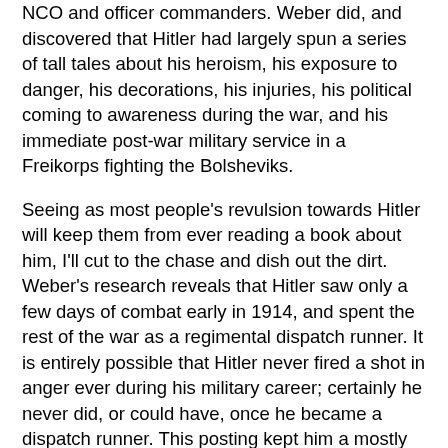NCO and officer commanders. Weber did, and discovered that Hitler had largely spun a series of tall tales about his heroism, his exposure to danger, his decorations, his injuries, his political coming to awareness during the war, and his immediate post-war military service in a Freikorps fighting the Bolsheviks.
Seeing as most people's revulsion towards Hitler will keep them from ever reading a book about him, I'll cut to the chase and dish out the dirt. Weber's research reveals that Hitler saw only a few days of combat early in 1914, and spent the rest of the war as a regimental dispatch runner. It is entirely possible that Hitler never fired a shot in anger ever during his military career; certainly he never did, or could have, once he became a dispatch runner. This posting kept him a mostly safe distance removed from the front lines, put him sleeping under a roof every night, got him better food than the front line troopers, and also gave him access to officers to asskiss into issuing him medals. Hitler showed no great political understanding of any issue during his years as a soldier, although he was a capable gasbag on many topics and generally tired his fellow soldiers greatly when he went on his soapbox. Hitler, a private (I believe the US